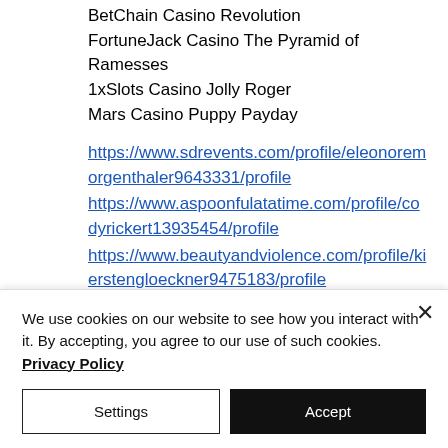BetChain Casino Revolution
FortuneJack Casino The Pyramid of Ramesses
1xSlots Casino Jolly Roger
Mars Casino Puppy Payday
https://www.sdrevents.com/profile/eleonoremorgenthaler9643331/profile
https://www.aspoonfulatatime.com/profile/codyrickert13935454/profile
https://www.beautyandviolence.com/profile/kierstengloeckner9475183/profile
https://www.ferryconstruction.com/profile/jeannoseff19820654/profile
We use cookies on our website to see how you interact with it. By accepting, you agree to our use of such cookies. Privacy Policy
Settings
Accept